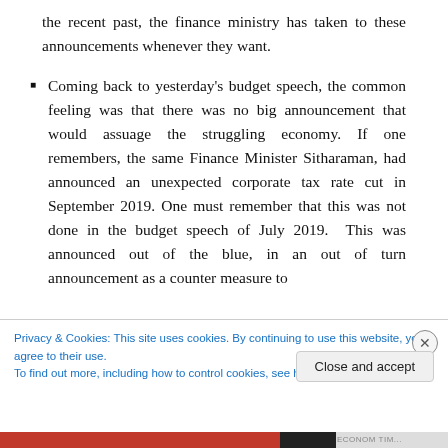the recent past, the finance ministry has taken to these announcements whenever they want.
Coming back to yesterday's budget speech, the common feeling was that there was no big announcement that would assuage the struggling economy. If one remembers, the same Finance Minister Sitharaman, had announced an unexpected corporate tax rate cut in September 2019. One must remember that this was not done in the budget speech of July 2019. This was announced out of the blue, in an out of turn announcement as a counter measure to
Privacy & Cookies: This site uses cookies. By continuing to use this website, you agree to their use.
To find out more, including how to control cookies, see here: Cookie Policy